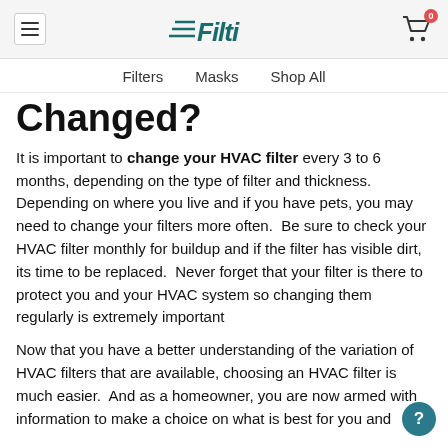Filti — Filters | Masks | Shop All
Changed?
It is important to change your HVAC filter every 3 to 6 months, depending on the type of filter and thickness. Depending on where you live and if you have pets, you may need to change your filters more often. Be sure to check your HVAC filter monthly for buildup and if the filter has visible dirt, its time to be replaced. Never forget that your filter is there to protect you and your HVAC system so changing them regularly is extremely important
Now that you have a better understanding of the variation of HVAC filters that are available, choosing an HVAC filter is much easier. And as a homeowner, you are now armed with information to make a choice on what is best for you and